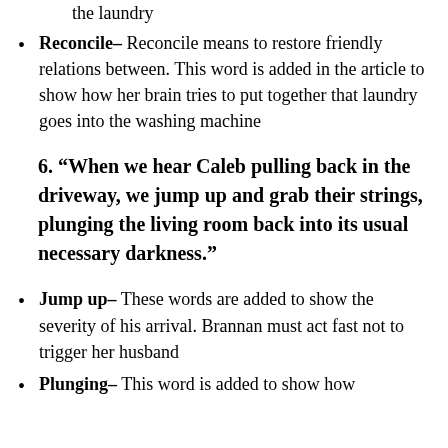the laundry
Reconcile– Reconcile means to restore friendly relations between. This word is added in the article to show how her brain tries to put together that laundry goes into the washing machine
6. “When we hear Caleb pulling back in the driveway, we jump up and grab their strings, plunging the living room back into its usual necessary darkness.”
Jump up– These words are added to show the severity of his arrival. Brannan must act fast not to trigger her husband
Plunging– This word is added to show how